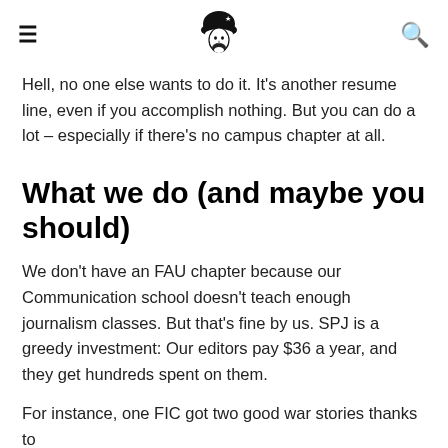≡ [logo] 🔍
Hell, no one else wants to do it. It's another resume line, even if you accomplish nothing. But you can do a lot – especially if there's no campus chapter at all.
What we do (and maybe you should)
We don't have an FAU chapter because our Communication school doesn't teach enough journalism classes. But that's fine by us. SPJ is a greedy investment: Our editors pay $36 a year, and they get hundreds spent on them.
For instance, one FIC got two good war stories thanks to